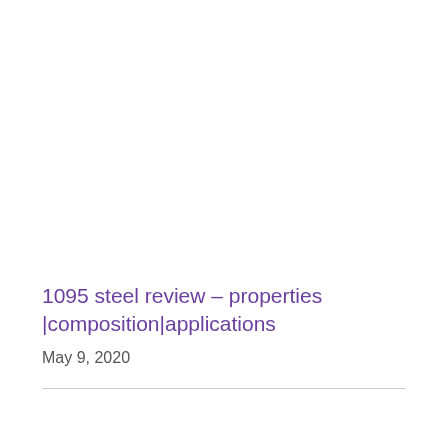1095 steel review – properties |composition|applications
May 9, 2020